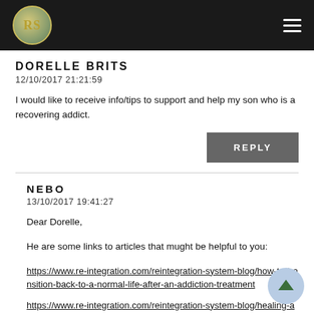[Figure (logo): RS logo circle and hamburger menu on dark header bar]
DORELLE BRITS
12/10/2017 21:21:59
I would like to receive info/tips to support and help my son who is a recovering addict.
REPLY
NEBO
13/10/2017 19:41:27
Dear Dorelle,
He are some links to articles that mught be helpful to you:
https://www.re-integration.com/reintegration-system-blog/how-to-transition-back-to-a-normal-life-after-an-addiction-treatment
https://www.re-integration.com/reintegration-system-blog/healing-addictions-with-a-help-of-the-reintegration-system